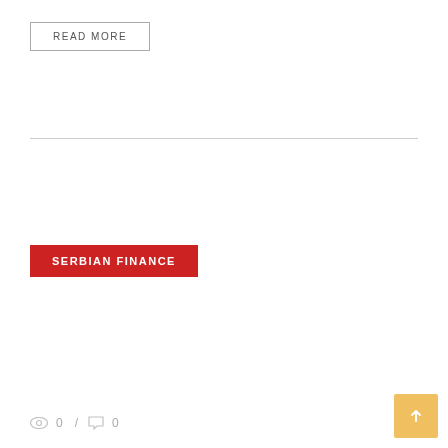READ MORE
SERBIAN FINANCE
0 / 0